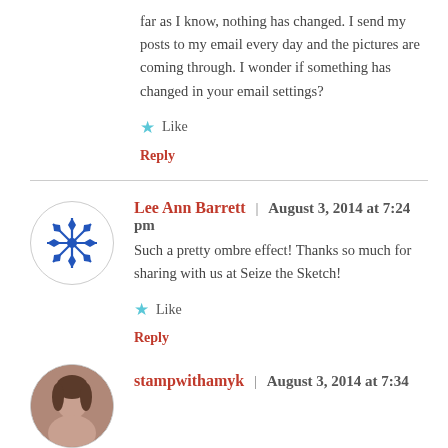far as I know, nothing has changed. I send my posts to my email every day and the pictures are coming through. I wonder if something has changed in your email settings?
Like
Reply
Lee Ann Barrett | August 3, 2014 at 7:24 pm
Such a pretty ombre effect! Thanks so much for sharing with us at Seize the Sketch!
Like
Reply
stampwithamyk | August 3, 2014 at 7:34